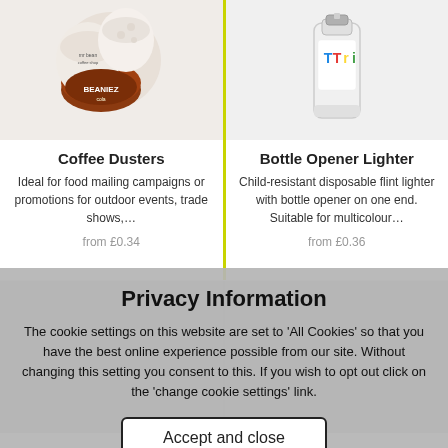[Figure (photo): Coffee Dusters product photo showing Beaniez coffee pods/capsules]
Coffee Dusters
Ideal for food mailing campaigns or promotions for outdoor events, trade shows,…
from £0.34
[Figure (photo): Bottle Opener Lighter product photo showing white lighter with Tric branding]
Bottle Opener Lighter
Child-resistant disposable flint lighter with bottle opener on one end. Suitable for multicolour…
from £0.36
Privacy Information
The cookie settings on this website are set to 'All Cookies' so that you have the best online experience possible from our site. Without changing this setting you consent to this. If you wish to opt out click on the 'change cookie settings' link.
Accept and close
Privacy Policy | Cookie Settings